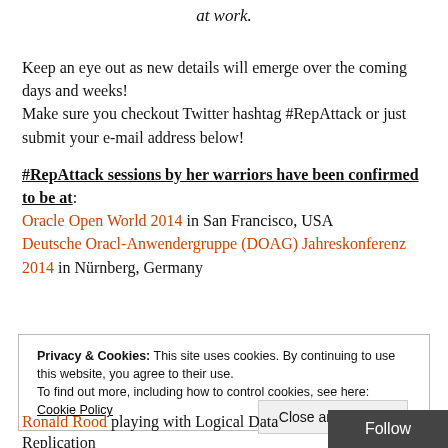at work.
Keep an eye out as new details will emerge over the coming days and weeks!
Make sure you checkout Twitter hashtag #RepAttack or just submit your e-mail address below!
#RepAttack sessions by her warriors have been confirmed to be at: Oracle Open World 2014 in San Francisco, USA Deutsche Oracl-Anwendergruppe (DOAG) Jahreskonferenz 2014 in Nürnberg, Germany
Privacy & Cookies: This site uses cookies. By continuing to use this website, you agree to their use.
To find out more, including how to control cookies, see here: Cookie Policy
Close and accept
Follow
Ronald Rood playing with Logical Data Replication